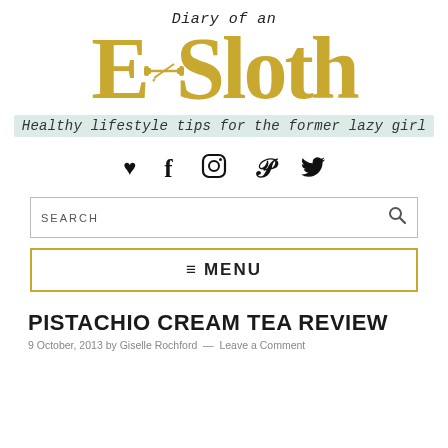[Figure (logo): Diary of an ExSloth blog logo with dumbbell icon and tagline 'Healthy lifestyle tips for the former lazy girl']
[Figure (infographic): Social media icons row: heart, Facebook, Instagram, Pinterest, Twitter]
SEARCH
≡ MENU
PISTACHIO CREAM TEA REVIEW
9 October, 2013 by Giselle Rochford — Leave a Comment